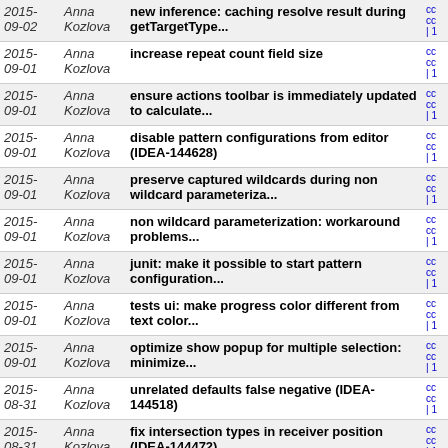| Date | Author | Message | Links |
| --- | --- | --- | --- |
| 2015-09-02 | Anna Kozlova | new inference: caching resolve result during getTargetType... | cc cc | 1 |
| 2015-09-01 | Anna Kozlova | increase repeat count field size | cc cc | 1 |
| 2015-09-01 | Anna Kozlova | ensure actions toolbar is immediately updated to calculate... | cc cc | 1 |
| 2015-09-01 | Anna Kozlova | disable pattern configurations from editor (IDEA-144628) | cc cc | 1 |
| 2015-09-01 | Anna Kozlova | preserve captured wildcards during non wildcard parameteriza... | cc cc | 1 |
| 2015-09-01 | Anna Kozlova | non wildcard parameterization: workaround problems... | cc cc | 1 |
| 2015-09-01 | Anna Kozlova | junit: make it possible to start pattern configuration... | cc cc | 1 |
| 2015-09-01 | Anna Kozlova | tests ui: make progress color different from text color... | cc cc | 1 |
| 2015-09-01 | Anna Kozlova | optimize show popup for multiple selection: minimize... | cc cc | 1 |
| 2015-08-31 | Anna Kozlova | unrelated defaults false negative (IDEA-144518) | cc cc | 1 |
| 2015-08-31 | Anna Kozlova | fix intersection types in receiver position (IDEA-144472) | cc cc | 1 |
| 2015-08-31 | Anna Kozlova | fix testdata | cc cc | 1 |
| 2015-08-28 | Anna Kozlova | show error message (IDEA-144514) | cc cc | 1 |
| 2015- | Anna | teach Presentable<...>Action to work with | cc |